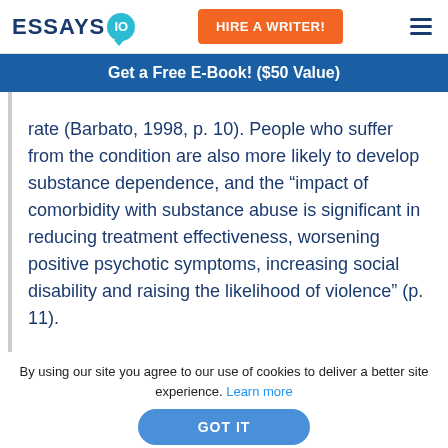ESSAYS IO | HIRE A WRITER!
Get a Free E-Book! ($50 Value)
rate (Barbato, 1998, p. 10). People who suffer from the condition are also more likely to develop substance dependence, and the “impact of comorbidity with substance abuse is significant in reducing treatment effectiveness, worsening positive psychotic symptoms, increasing social disability and raising the likelihood of violence” (p. 11).
By using our site you agree to our use of cookies to deliver a better site experience. Learn more
GOT IT